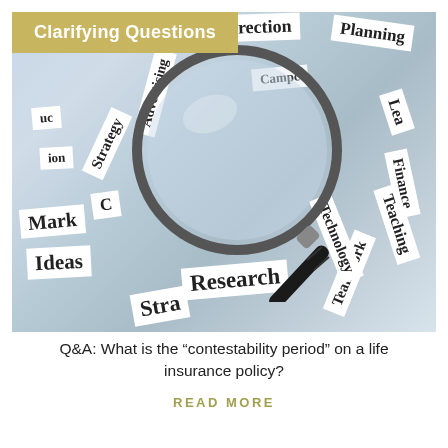[Figure (photo): A magnifying glass resting on scattered white paper cards with various business/strategy words printed on them, on a light blue-grey background. Visible words include: Direction, Planning, Advertising, Strategy, Research, Ideas, Marketing, Technology, Teaching, Finance, Teamwork, Leadership.]
Clarifying Questions
Q&A: What is the “contestability period” on a life insurance policy?
READ MORE